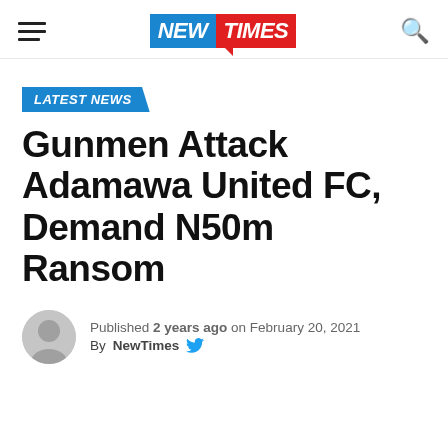NEW TIMES
LATEST NEWS
Gunmen Attack Adamawa United FC, Demand N50m Ransom
Published 2 years ago on February 20, 2021
By NewTimes